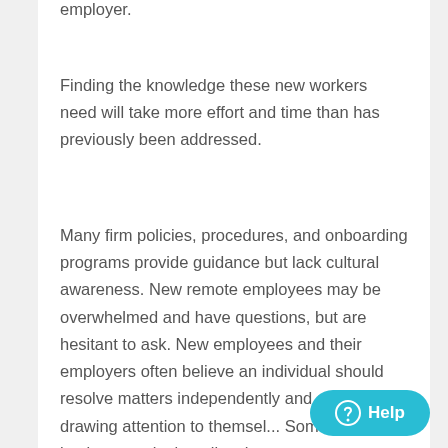employer.
Finding the knowledge these new workers need will take more effort and time than has previously been addressed.
Many firm policies, procedures, and onboarding programs provide guidance but lack cultural awareness. New remote employees may be overwhelmed and have questions, but are hesitant to ask. New employees and their employers often believe an individual should resolve matters independently and avoid drawing attention to themselves. Some businesses don't realize that